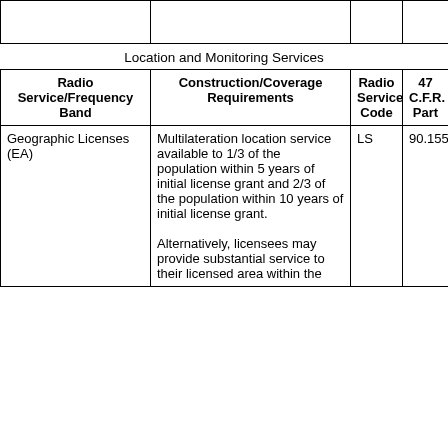Location and Monitoring Services
| Radio Service/Frequency Band | Construction/Coverage Requirements | Radio Service Code | 47 C.F.R. Part |
| --- | --- | --- | --- |
| Geographic Licenses (EA) | Multilateration location service available to 1/3 of the population within 5 years of initial license grant and 2/3 of the population within 10 years of initial license grant.

Alternatively, licensees may provide substantial service to their licensed area within the | LS | 90.155(d) |